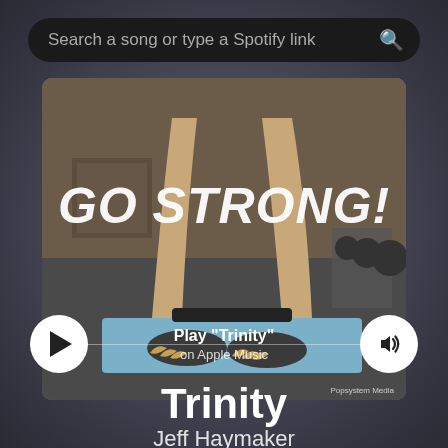[Figure (screenshot): Music player app UI screenshot showing a workout album art with 'GO STRONG!' text, search bar at top, play button, volume button, song title Trinity by Jeff Haymaker, Apple Music integration]
Search a song or type a Spotify link
GO STRONG!
Play "Trinity"
on Apple Music
Trinity
Jeff Haymaker